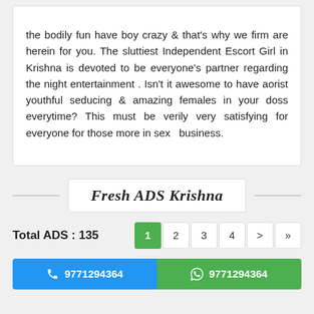the bodily fun have boy crazy & that's why we firm are herein for you. The sluttiest Independent Escort Girl in Krishna is devoted to be everyone's partner regarding the night entertainment . Isn't it awesome to have aorist youthful seducing & amazing females in your doss everytime? This must be verily very satisfying for everyone for those more in sex  business.
Fresh ADS Krishna
Total ADS : 135
1  2  3  4  >  »
📞 9771294364   💬 9771294364